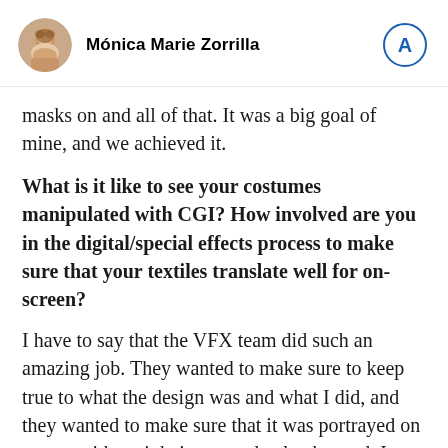Mónica Marie Zorrilla
masks on and all of that. It was a big goal of mine, and we achieved it.
What is it like to see your costumes manipulated with CGI? How involved are you in the digital/special effects process to make sure that your textiles translate well for on-screen?
I have to say that the VFX team did such an amazing job. They wanted to make sure to keep true to what the design was and what I did, and they wanted to make sure that it was portrayed on screen without it being completely changed. I spoke with them daily, and I gave them fabric samples from the